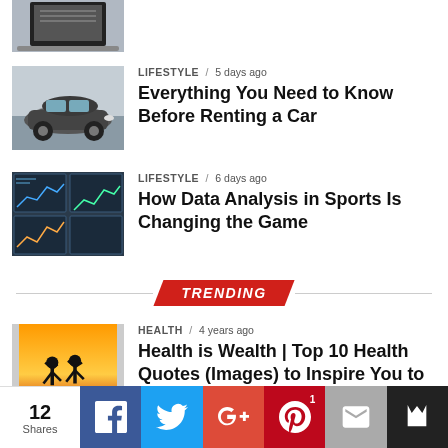[Figure (photo): Partial laptop photo at top (cropped)]
LIFESTYLE / 5 days ago
Everything You Need to Know Before Renting a Car
[Figure (photo): Gray car (Ford Focus or similar) photo]
LIFESTYLE / 6 days ago
How Data Analysis in Sports Is Changing the Game
[Figure (photo): Data charts/screens photo]
TRENDING
HEALTH / 4 years ago
Health is Wealth | Top 10 Health Quotes (Images) to Inspire You to Live a Healthier Life
[Figure (photo): Two silhouetted runners at sunset]
12 Shares